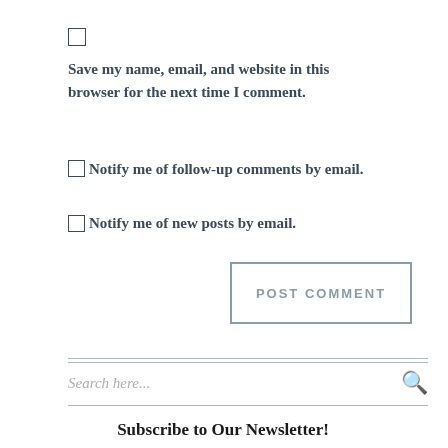Save my name, email, and website in this browser for the next time I comment.
Notify me of follow-up comments by email.
Notify me of new posts by email.
POST COMMENT
Search here...
Subscribe to Our Newsletter!